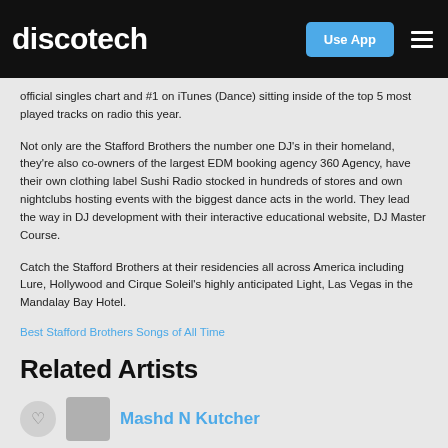discotech
official singles chart and #1 on iTunes (Dance) sitting inside of the top 5 most played tracks on radio this year.
Not only are the Stafford Brothers the number one DJ's in their homeland, they're also co-owners of the largest EDM booking agency 360 Agency, have their own clothing label Sushi Radio stocked in hundreds of stores and own nightclubs hosting events with the biggest dance acts in the world. They lead the way in DJ development with their interactive educational website, DJ Master Course.
Catch the Stafford Brothers at their residencies all across America including Lure, Hollywood and Cirque Soleil's highly anticipated Light, Las Vegas in the Mandalay Bay Hotel.
Best Stafford Brothers Songs of All Time
Related Artists
Mashd N Kutcher